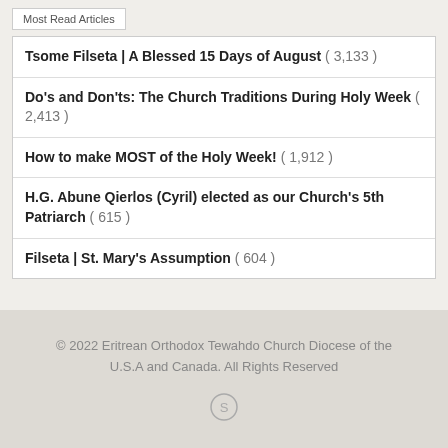Most Read Articles
Tsome Filseta | A Blessed 15 Days of August ( 3,133 )
Do's and Don'ts: The Church Traditions During Holy Week ( 2,413 )
How to make MOST of the Holy Week! ( 1,912 )
H.G. Abune Qierlos (Cyril) elected as our Church's 5th Patriarch ( 615 )
Filseta | St. Mary's Assumption ( 604 )
© 2022 Eritrean Orthodox Tewahdo Church Diocese of the U.S.A and Canada. All Rights Reserved